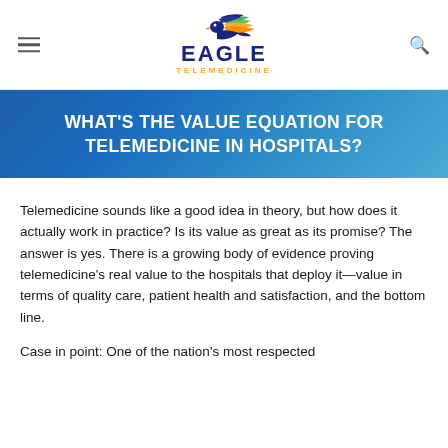Eagle Telemedicine
WHAT'S THE VALUE EQUATION FOR TELEMEDICINE IN HOSPITALS?
Telemedicine sounds like a good idea in theory, but how does it actually work in practice? Is its value as great as its promise? The answer is yes. There is a growing body of evidence proving telemedicine's real value to the hospitals that deploy it—value in terms of quality care, patient health and satisfaction, and the bottom line.
Case in point: One of the nation's most respected medical institutions, the Mayo Clinic, conducted a